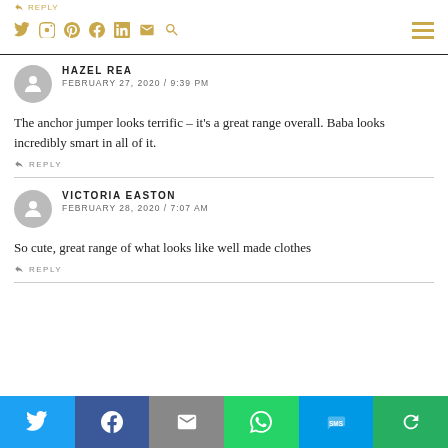REPLY | social icons | hamburger menu
HAZEL REA
FEBRUARY 27, 2020 / 9:39 PM
The anchor jumper looks terrific – it's a great range overall. Baba looks incredibly smart in all of it.
REPLY
VICTORIA EASTON
FEBRUARY 28, 2020 / 7:07 AM
So cute, great range of what looks like well made clothes
REPLY
[Figure (infographic): Share bar with Twitter, Facebook, Mail, WhatsApp, SMS, and More buttons]